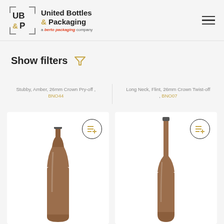[Figure (logo): United Bottles & Packaging logo - UB&P monogram with bracket border, text 'United Bottles & Packaging' and 'a berto packaging company' subtitle]
Show filters
Stubby, Amber, 26mm Crown Pry-off , BNO44
Long Neck, Flint, 26mm Crown Twist-off , BNO07
[Figure (photo): Amber beer bottle (stubby style) in white product card with add to list button]
[Figure (photo): Amber beer bottle (long neck style) in white product card with add to list button]